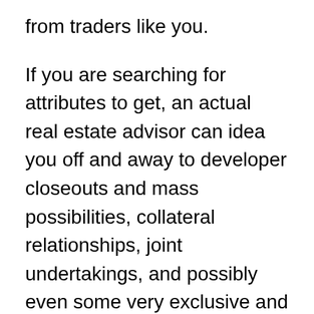from traders like you.
If you are searching for attributes to get, an actual real estate advisor can idea you off and away to developer closeouts and mass possibilities, collateral relationships, joint undertakings, and possibly even some very exclusive and lucrative turnkey expense options. The consultant is offering information and facts and experience, and therefore can present you with a level of insulating material between you and also individuals offering the properties. They could figure out most of the specifics and enterprise prospective customers